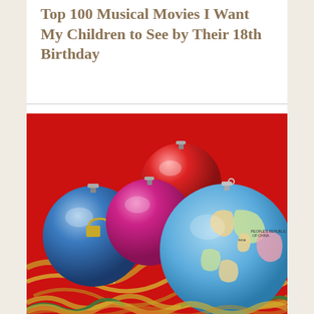Top 100 Musical Movies I Want My Children to See by Their 18th Birthday
[Figure (photo): Photo of colorful Christmas ornaments (blue, red, magenta/purple) and a globe ornament showing a world map, surrounded by gold tinsel garland on a red background]